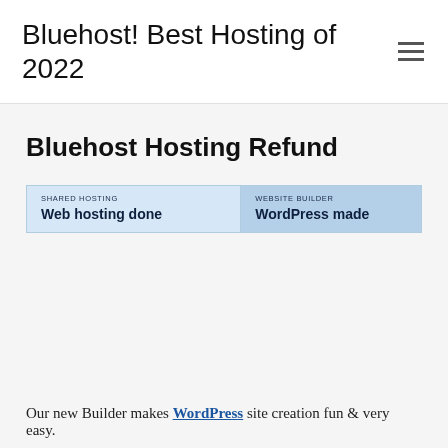Bluehost! Best Hosting of 2022
Bluehost Hosting Refund
[Figure (screenshot): Bluehost website banner showing two panels: 'SHARED HOSTING - Web hosting done' on the left and 'WEBSITE BUILDER - WordPress made' on the right]
Our new Builder makes WordPress site creation fun & very easy.